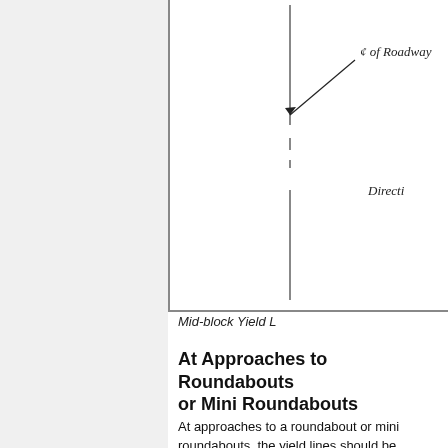[Figure (engineering-diagram): Engineering diagram showing the centerline of a roadway with a solid vertical line at top transitioning to a dashed segment then another solid segment below, with a leader line and label 'C of Roadway' (centerline symbol) and partial label 'Directi' on the right side. The diagram represents a mid-block yield line marking layout.]
Mid-block Yield L
At Approaches to Roundabouts or Mini Roundabouts
At approaches to a roundabout or mini roundabouts, the yield lines should be